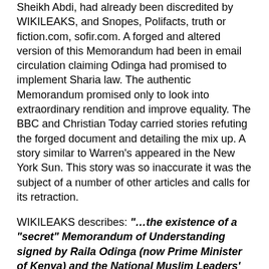Sheikh Abdi, had already been discredited by WIKILEAKS, and Snopes, Polifacts, truth or fiction.com, sofir.com. A forged and altered version of this Memorandum had been in email circulation claiming Odinga had promised to implement Sharia law. The authentic Memorandum promised only to look into extraordinary rendition and improve equality. The BBC and Christian Today carried stories refuting the forged document and detailing the mix up. A story similar to Warren's appeared in the New York Sun. This story was so inaccurate it was the subject of a number of other articles and calls for its retraction.
WIKILEAKS describes: "…the existence of a "secret" Memorandum of Understanding signed by Raila Odinga (now Prime Minister of Kenya) and the National Muslim Leaders' Forum. A forged version of this Memorandum of Understanding was in email circulation as of November 2007 and a copy was released by Wikileaks.Org on November 14th 2007. The MoU went on to cause considerable mischief in the December 2007 Kenyan election and continues, incredibly, to be used to frame US Democratic Presidential candidate Barack Obama. It even spawned "The Memorandum" which is...